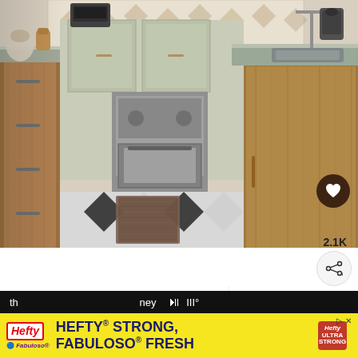[Figure (photo): A kitchen interior photo showing wooden lower cabinets with metal bar handles on both sides, light green upper cabinets in the background with a stainless steel range, patterned tile backsplash with geometric diamond motifs, a checkered black and white floor with a runner rug, and a gray stone/concrete countertop with an undermount sink on the right.]
2.1K
A combination of wooden and light kitchen cabinets. Combined with stunning
WHAT'S NEXT → Benjamin Moore Color...
HEFTY® STRONG, FABULOSO® FRESH